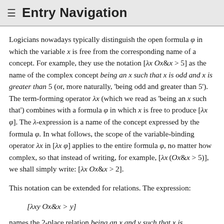≡  Entry Navigation
Logicians nowadays typically distinguish the open formula φ in which the variable x is free from the corresponding name of a concept. For example, they use the notation [λx Ox&x > 5] as the name of the complex concept being an x such that x is odd and x is greater than 5 (or, more naturally, 'being odd and greater than 5'). The term-forming operator λx (which we read as 'being an x such that') combines with a formula φ in which x is free to produce [λx φ]. The λ-expression is a name of the concept expressed by the formula φ. In what follows, the scope of the variable-binding operator λx in [λx φ] applies to the entire formula φ, no matter how complex, so that instead of writing, for example, [λx(Ox&x > 5)], we shall simply write: [λx Ox&x > 2].
This notation can be extended for relations. The expression:
names the 2-place relation being an x and y such that x is